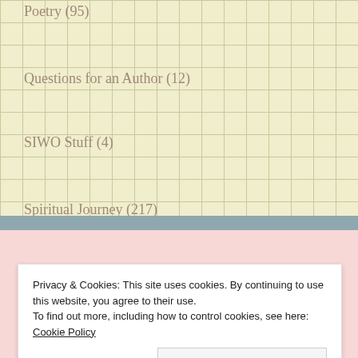Poetry (95)
Questions for an Author (12)
SIWO Stuff (4)
Spiritual Journey (217)
Uncategorized (164)
Recent Posts
Privacy & Cookies: This site uses cookies. By continuing to use this website, you agree to their use.
To find out more, including how to control cookies, see here: Cookie Policy
Close and accept